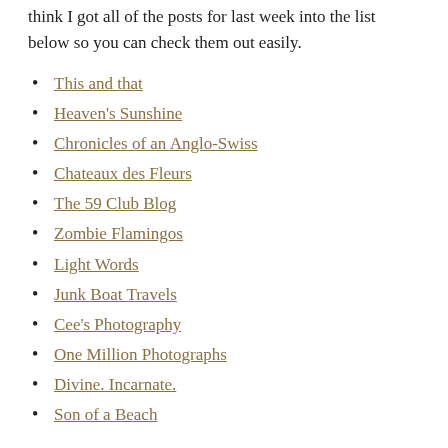think I got all of the posts for last week into the list below so you can check them out easily.
This and that
Heaven's Sunshine
Chronicles of an Anglo-Swiss
Chateaux des Fleurs
The 59 Club Blog
Zombie Flamingos
Light Words
Junk Boat Travels
Cee's Photography
One Million Photographs
Divine. Incarnate.
Son of a Beach
Here are my pictures for this week. I've been traveling to Arizona with my father.